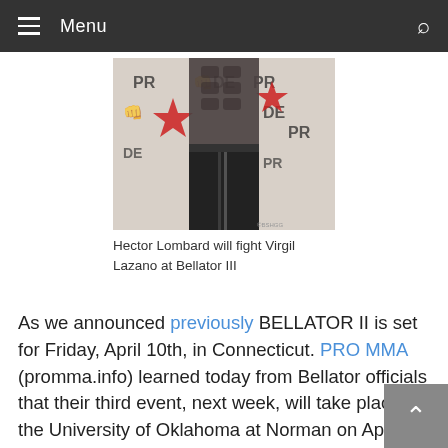Menu
[Figure (photo): Hector Lombard shirtless torso in front of PRIDE banner backdrop]
Hector Lombard will fight Virgil Lazano at Bellator III
As we announced previously BELLATOR II is set for Friday, April 10th, in Connecticut. PRO MMA (promma.info) learned today from Bellator officials that their third event, next week, will take place at the University of Oklahoma at Norman on April 17th. The event will be held at the home of the Oklahoma Sooners, the Lloyd Noble Center.